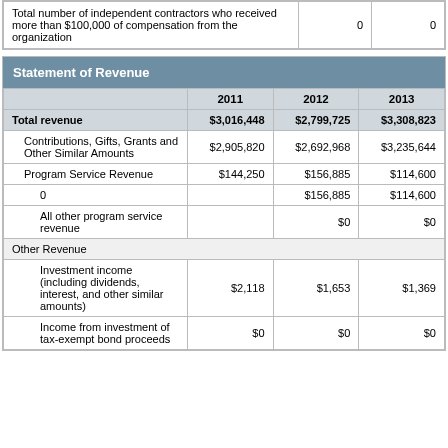| Description | Col1 | Col2 |
| --- | --- | --- |
| Total number of independent contractors who received more than $100,000 of compensation from the organization | 0 | 0 |
| Statement of Revenue | 2011 | 2012 | 2013 |
| --- | --- | --- | --- |
| Total revenue | $3,016,448 | $2,799,725 | $3,308,823 |
| Contributions, Gifts, Grants and Other Similar Amounts | $2,905,820 | $2,692,968 | $3,235,644 |
| Program Service Revenue | $144,250 | $156,885 | $114,600 |
| 0 |  | $156,885 | $114,600 |
| All other program service revenue |  | $0 | $0 |
| Other Revenue |  |  |  |
| Investment income (including dividends, interest, and other similar amounts) | $2,118 | $1,653 | $1,369 |
| Income from investment of tax-exempt bond proceeds | $0 | $0 | $0 |